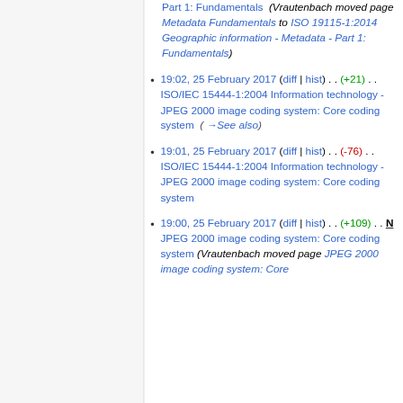Part 1: Fundamentals (Vrautenbach moved page Metadata Fundamentals to ISO 19115-1:2014 Geographic information - Metadata - Part 1: Fundamentals)
19:02, 25 February 2017 (diff | hist) . . (+21) . . ISO/IEC 15444-1:2004 Information technology - JPEG 2000 image coding system: Core coding system (→See also)
19:01, 25 February 2017 (diff | hist) . . (-76) . . ISO/IEC 15444-1:2004 Information technology - JPEG 2000 image coding system: Core coding system
19:00, 25 February 2017 (diff | hist) . . (+109) . . N JPEG 2000 image coding system: Core coding system (Vrautenbach moved page JPEG 2000 image coding system: Core